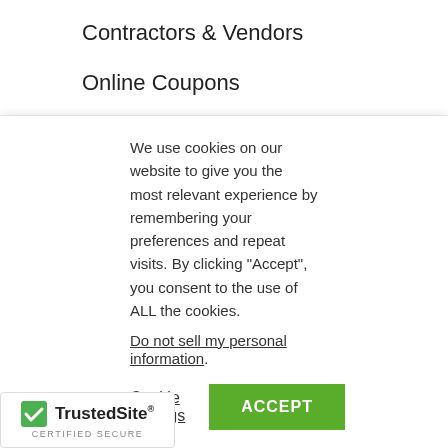Contractors & Vendors
Online Coupons
Debt Reporting
Free Forms
Forms Order
Group Insurance
TENANT SCREENING
We use cookies on our website to give you the most relevant experience by remembering your preferences and repeat visits. By clicking “Accept”, you consent to the use of ALL the cookies.
Do not sell my personal information.
Cookie settings  ACCEPT